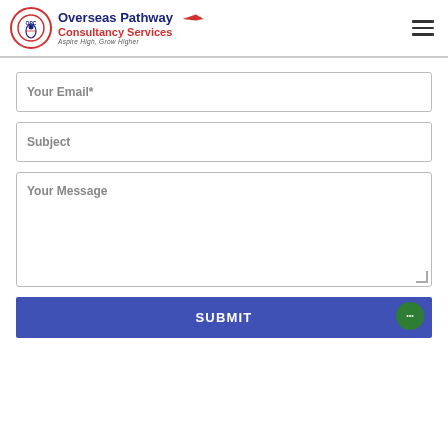Overseas Pathway Consultancy Services — Aspire High, Grow Higher
Your Email*
Subject
Your Message
SUBMIT